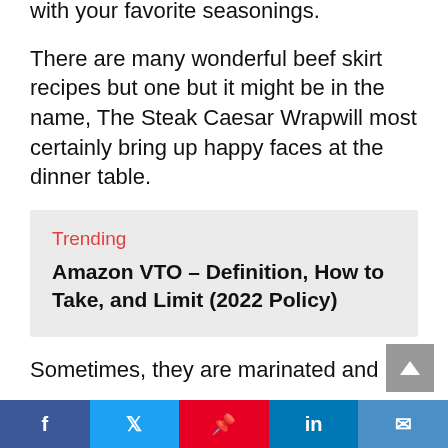with your favorite seasonings.
There are many wonderful beef skirt recipes but one but it might be in the name, The Steak Caesar Wrapwill most certainly bring up happy faces at the dinner table.
Trending
Amazon VTO – Definition, How to Take, and Limit (2022 Policy)
Sometimes, they are marinated and